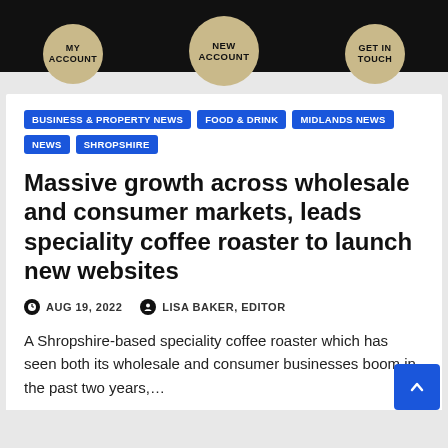MY ACCOUNT | NEW ACCOUNT | GET IN TOUCH
BUSINESS & PROPERTY NEWS
FOOD & DRINK
MIDLANDS NEWS
NEWS
SHROPSHIRE
Massive growth across wholesale and consumer markets, leads speciality coffee roaster to launch new websites
AUG 19, 2022   LISA BAKER, EDITOR
A Shropshire-based speciality coffee roaster which has seen both its wholesale and consumer businesses boom in the past two years,…